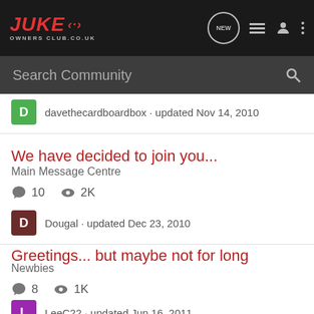Juke Owners Club - Navigation bar with logo and icons
Search Community
davethecardboardbox · updated Nov 14, 2010
We have decided to join you...
Main Message Centre
10  2K
Dougal · updated Dec 23, 2010
Greetings... but maybe not for long
Newbies
8  1K
LeeC22 · updated Jun 16, 2011